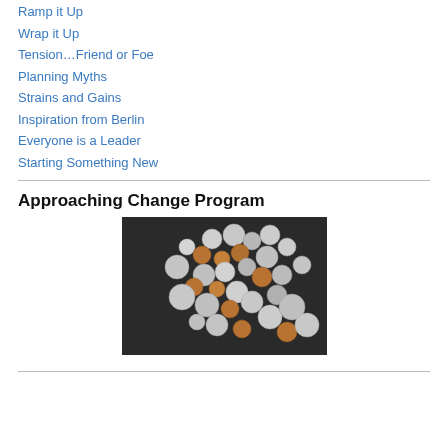Ramp it Up
Wrap it Up
Tension…Friend or Foe
Planning Myths
Strains and Gains
Inspiration from Berlin
Everyone is a Leader
Starting Something New
Approaching Change Program
[Figure (photo): A collection of various coins (pennies, dimes, quarters, nickels) scattered on a dark surface]